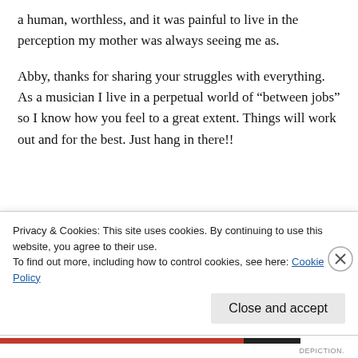a human, worthless, and it was painful to live in the perception my mother was always seeing me as.
Abby, thanks for sharing your struggles with everything. As a musician I live in a perpetual world of “between jobs” so I know how you feel to a great extent. Things will work out and for the best. Just hang in there!!
Reply
Privacy & Cookies: This site uses cookies. By continuing to use this website, you agree to their use.
To find out more, including how to control cookies, see here: Cookie Policy